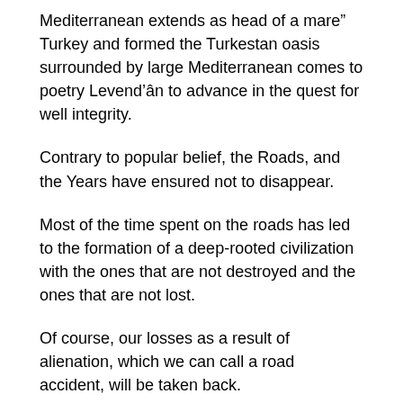Mediterranean extends as head of a mare” Turkey and formed the Turkestan oasis surrounded by large Mediterranean comes to poetry Levend’ân to advance in the quest for well integrity.
Contrary to popular belief, the Roads, and the Years have ensured not to disappear.
Most of the time spent on the roads has led to the formation of a deep-rooted civilization with the ones that are not destroyed and the ones that are not lost.
Of course, our losses as a result of alienation, which we can call a road accident, will be taken back.
Levend is a basic concept that came to life in the Mediterranean coasts; Italy (Levantino), Spain (Levante),